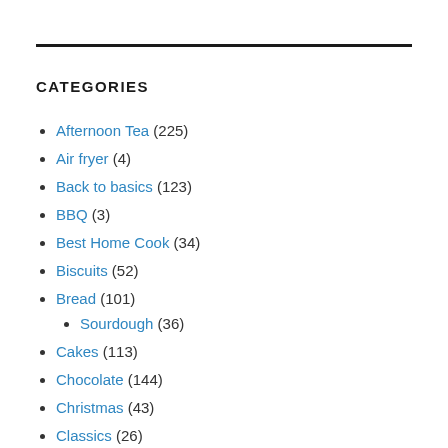CATEGORIES
Afternoon Tea (225)
Air fryer (4)
Back to basics (123)
BBQ (3)
Best Home Cook (34)
Biscuits (52)
Bread (101)
Sourdough (36)
Cakes (113)
Chocolate (144)
Christmas (43)
Classics (26)